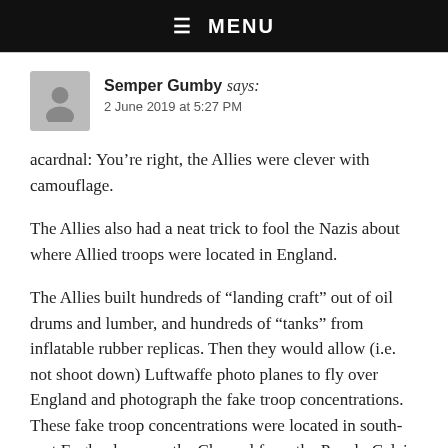☰ MENU
Semper Gumby says:
2 June 2019 at 5:27 PM
acardnal: You're right, the Allies were clever with camouflage.
The Allies also had a neat trick to fool the Nazis about where Allied troops were located in England.
The Allies built hundreds of “landing craft” out of oil drums and lumber, and hundreds of “tanks” from inflatable rubber replicas. Then they would allow (i.e. not shoot down) Luftwaffe photo planes to fly over England and photograph the fake troop concentrations. These fake troop concentrations were located in south-east England, across the Channel from the Pas-de-Calais where Hitler thought the Allies would invade